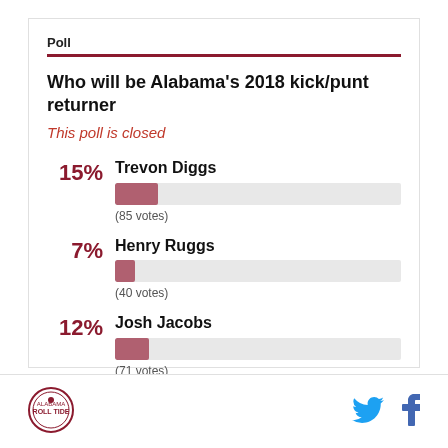Poll
Who will be Alabama's 2018 kick/punt returner
This poll is closed
[Figure (bar-chart): Who will be Alabama's 2018 kick/punt returner]